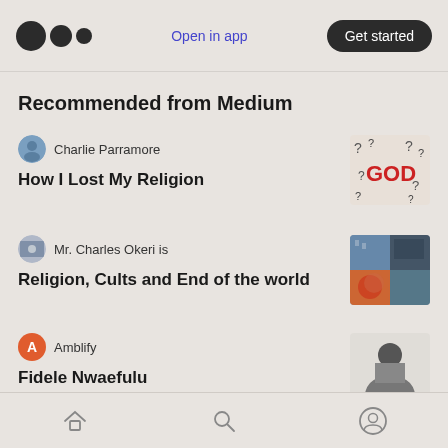Medium logo | Open in app | Get started
Recommended from Medium
Charlie Parramore
How I Lost My Religion
[Figure (photo): Thumbnail image with question marks and word GOD written in red]
Mr. Charles Okeri is
Religion, Cults and End of the world
[Figure (photo): Thumbnail collage with city and moon images]
Amblify
Fidele Nwaefulu
[Figure (photo): Thumbnail portrait of a person]
Home | Search | Profile navigation icons